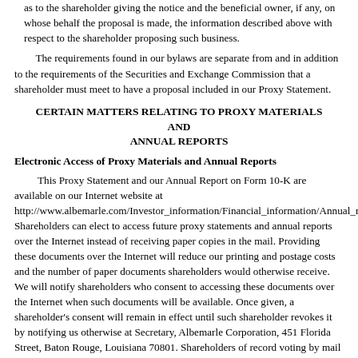as to the shareholder giving the notice and the beneficial owner, if any, on whose behalf the proposal is made, the information described above with respect to the shareholder proposing such business.
The requirements found in our bylaws are separate from and in addition to the requirements of the Securities and Exchange Commission that a shareholder must meet to have a proposal included in our Proxy Statement.
CERTAIN MATTERS RELATING TO PROXY MATERIALS AND ANNUAL REPORTS
Electronic Access of Proxy Materials and Annual Reports
This Proxy Statement and our Annual Report on Form 10-K are available on our Internet website at http://www.albemarle.com/Investor_information/Financial_information/Annual_repo Shareholders can elect to access future proxy statements and annual reports over the Internet instead of receiving paper copies in the mail. Providing these documents over the Internet will reduce our printing and postage costs and the number of paper documents shareholders would otherwise receive. We will notify shareholders who consent to accessing these documents over the Internet when such documents will be available. Once given, a shareholder's consent will remain in effect until such shareholder revokes it by notifying us otherwise at Secretary, Albemarle Corporation, 451 Florida Street, Baton Rouge, Louisiana 70801. Shareholders of record voting by mail can choose this option by marking the appropriate box on the proxy card included with this Proxy Statement and shareholders of record voting by telephone or over the Internet can choose this option by following the instructions provided by telephone or over the Internet, as applicable. Beneficial owners whose shares are held in street name should refer to